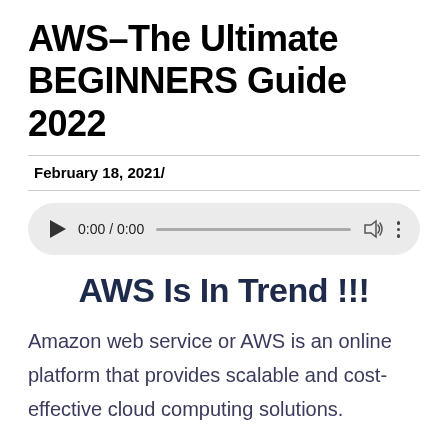AWS–The Ultimate BEGINNERS Guide 2022
February 18, 2021/
[Figure (other): Audio player widget showing 0:00 / 0:00 with play button, progress bar, volume icon, and options dots]
AWS Is In Trend !!!
Amazon web service or AWS is an online platform that provides scalable and cost-effective cloud computing solutions.